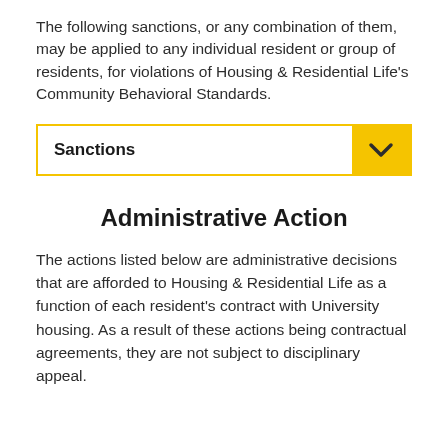The following sanctions, or any combination of them, may be applied to any individual resident or group of residents, for violations of Housing & Residential Life's Community Behavioral Standards.
Sanctions
Administrative Action
The actions listed below are administrative decisions that are afforded to Housing & Residential Life as a function of each resident's contract with University housing. As a result of these actions being contractual agreements, they are not subject to disciplinary appeal.